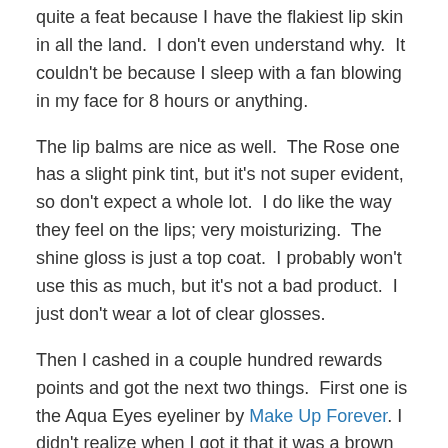quite a feat because I have the flakiest lip skin in all the land.  I don't even understand why.  It couldn't be because I sleep with a fan blowing in my face for 8 hours or anything.
The lip balms are nice as well.  The Rose one has a slight pink tint, but it's not super evident, so don't expect a whole lot.  I do like the way they feel on the lips; very moisturizing.  The shine gloss is just a top coat.  I probably won't use this as much, but it's not a bad product.  I just don't wear a lot of clear glosses.
Then I cashed in a couple hundred rewards points and got the next two things.  First one is the Aqua Eyes eyeliner by Make Up Forever. I didn't realize when I got it that it was a brown pencil, but I'm kind of happy it was. I have a lot of black liners, but very few brown ones. I was mostly